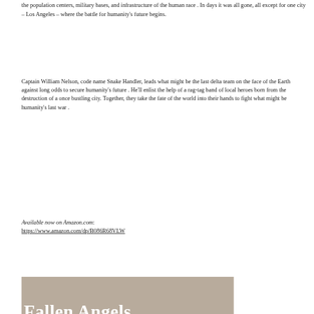the population centers, military bases, and infrastructure of the human race . In days it was all gone, all except for one city – Los Angeles – where the battle for humanity's future begins.
Captain William Nelson, code name Snake Handler, leads what might be the last delta team on the face of the Earth against long odds to secure humanity's future . He'll enlist the help of a rag-tag band of local heroes born from the destruction of a once bustling city. Together, they take the fate of the world into their hands to fight what might be humanity's last war .
Available now on Amazon.com:
https://www.amazon.com/dp/B086R68VLW
[Figure (illustration): Bottom portion of a book cover with a tan/beige background color showing the title 'Fallen Angels' in large bold white serif text, partially cropped.]